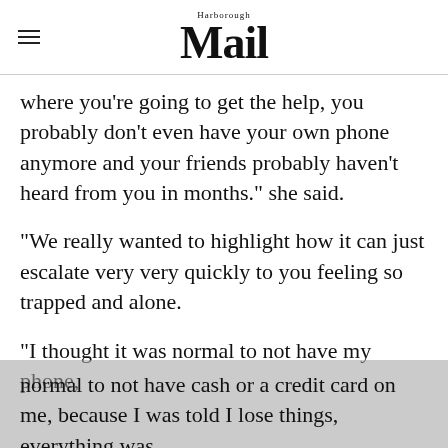Harborough Mail
where you're going to get the help, you probably don't even have your own phone anymore and your friends probably haven't heard from you in months." she said.
"We really wanted to highlight how it can just escalate very very quickly to you feeling so trapped and alone.
"I thought it was normal to not have my phone, normal to not have cash or a credit card on me, because I was told I lose things, everything was